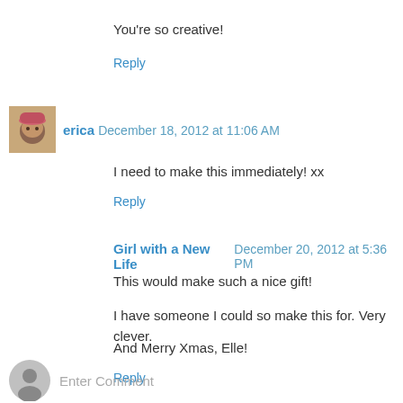You're so creative!
Reply
erica  December 18, 2012 at 11:06 AM
I need to make this immediately! xx
Reply
Girl with a New Life  December 20, 2012 at 5:36 PM
This would make such a nice gift!
I have someone I could so make this for. Very clever.
And Merry Xmas, Elle!
Reply
Enter Comment